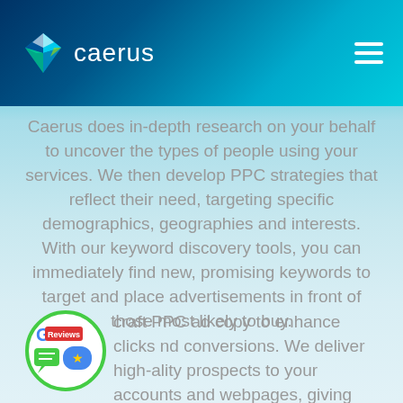[Figure (logo): Caerus logo with geometric diamond shape in blue, green, and teal colors, with hamburger menu icon on the right side, on a dark blue to teal gradient header]
Caerus does in-depth research on your behalf to uncover the types of people using your services. We then develop PPC strategies that reflect their need, targeting specific demographics, geographies and interests. With our keyword discovery tools, you can immediately find new, promising keywords to target and place advertisements in front of those most likely to buy.
[Figure (illustration): Google Reviews badge - circular green border with Google G logo, a red Reviews button, and speech bubble icons with a star rating robot/mascot]
craft PPC ad copy to enhance clicks nd conversions. We deliver high-ality prospects to your accounts and webpages, giving you more revenue